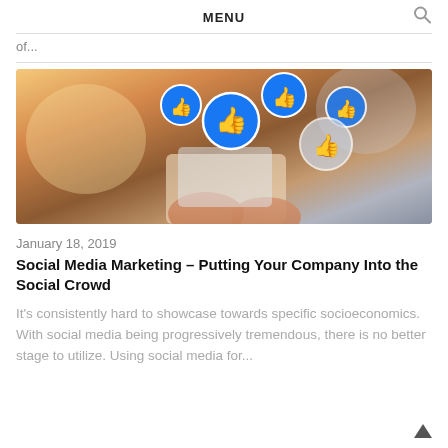MENU
of...
[Figure (photo): Person holding a smartphone with floating Facebook-style thumbs-up like button icons above it]
January 18, 2019
Social Media Marketing – Putting Your Company Into the Social Crowd
It's consistently hard to showcase towards specific socioeconomics. With social media being progressively tremendous, there is no better stage to utilize. Using social media for...